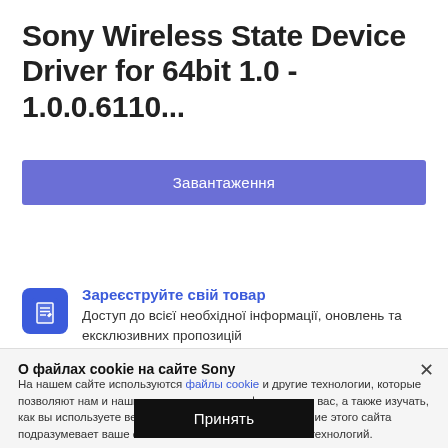Sony Wireless State Device Driver for 64bit 1.0 - 1.0.0.6110...
Завантаження
Установлення
Відомості про файл
Зареєструйте свій товар
Доступ до всієї необхідної інформації, оновлень та ексклюзивних пропозицій
О файлах cookie на сайте Sony
На нашем сайте используются файлы cookie и другие технологии, которые позволяют нам и нашим партнерам идентифицировать вас, а также изучать, как вы используете веб-сайт. Дальнейшее использование этого сайта подразумевает ваше согласие на использование этих технологий.
Принять